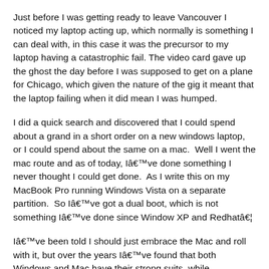Just before I was getting ready to leave Vancouver I noticed my laptop acting up, which normally is something I can deal with, in this case it was the precursor to my laptop having a catastrophic fail. The video card gave up the ghost the day before I was supposed to get on a plane for Chicago, which given the nature of the gig it meant that the laptop failing when it did mean I was humped.
I did a quick search and discovered that I could spend about a grand in a short order on a new windows laptop, or I could spend about the same on a mac.  Well I went the mac route and as of today, I've done something I never thought I could get done.  As I write this on my MacBook Pro running Windows Vista on a separate partition.  So I've got a dual boot, which is not something I've done since Window XP and Redhat…
I've been told I should just embrace the Mac and roll with it, but over the years I've found that both Windows and Mac have their strong suits, while multimedia production on the Mac is much stronger, Office suite applications and CAD applications are stronger for the PC.  So now with the dual boot I have access to both the strong suits and that makes me very happy!  I've got CAD for my technical work and I've Lightroom for my photography and I only have to restart to have access to either of